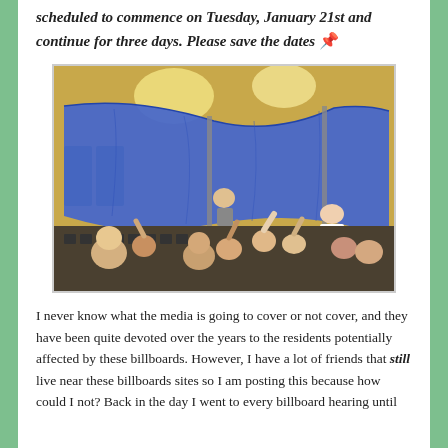scheduled to commence on Tuesday, January 21st and continue for three days. Please save the dates 📌
[Figure (photo): A crowd of people seated and standing in a large hall or auditorium. A large blue tarp or curtain is being held up or displayed by two people using poles, dominating the upper portion of the scene. People in the audience appear to be reacting with raised hands.]
I never know what the media is going to cover or not cover, and they have been quite devoted over the years to the residents potentially affected by these billboards. However, I have a lot of friends that still live near these billboards sites so I am posting this because how could I not? Back in the day I went to every billboard hearing until